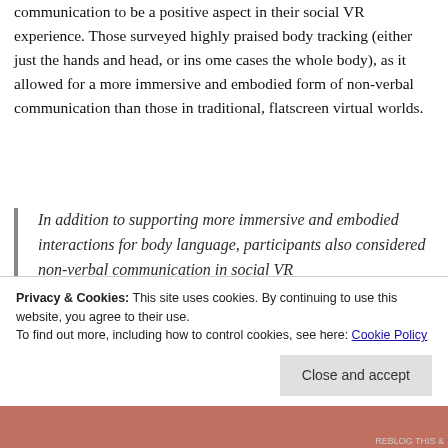communication to be a positive aspect in their social VR experience. Those surveyed highly praised body tracking (either just the hands and head, or ins ome cases the whole body), as it allowed for a more immersive and embodied form of non-verbal communication than those in traditional, flatscreen virtual worlds.
In addition to supporting more immersive and embodied interactions for body language, participants also considered non-verbal communication in social VR
Privacy & Cookies: This site uses cookies. By continuing to use this website, you agree to their use.
To find out more, including how to control cookies, see here: Cookie Policy